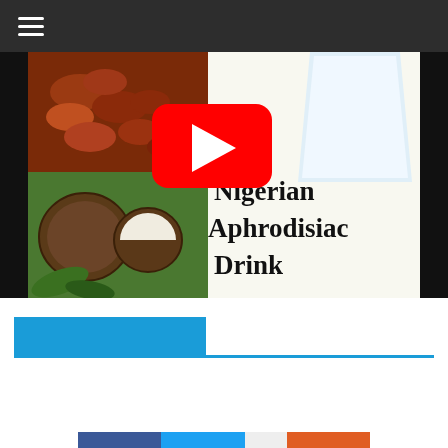[Figure (screenshot): Mobile website navigation bar with hamburger menu icon on dark background]
[Figure (screenshot): YouTube video thumbnail showing dates, coconuts, a milk glass, YouTube play button overlay, and text reading 'Nigerian Aphrodisiac Drink']
[Figure (screenshot): Blue banner section bar with blue underline separator]
[Figure (screenshot): Search bar with magnifying glass button and social share buttons (Facebook, Twitter, orange share)]